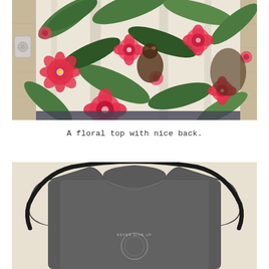[Figure (photo): A floral top laid flat, showing red hibiscus flowers and green tropical leaves on a white background, photographed against a light wood-paneled wall with a light switch visible on the left.]
A floral top with nice back.
[Figure (photo): A dark grey/charcoal sleeveless tank top hung on a black clothes hanger, showing the open back design. The front has a circular graphic text reading 'NEVER GIVE UP'. Background is a light beige wall.]